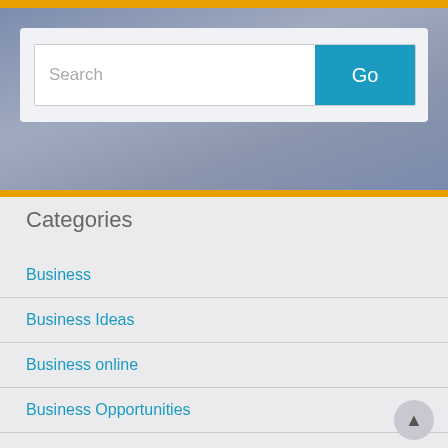[Figure (screenshot): Search bar with text input field and teal Go button on a light gray background]
Categories
Business
Business Ideas
Business online
Business Opportunities
Business Studies
Digital Marketing
Facebook
Foreign Content